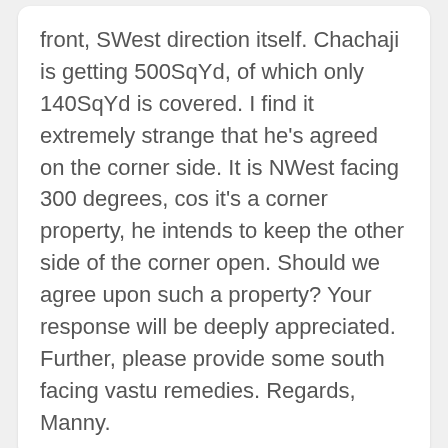front, SWest direction itself. Chachaji is getting 500SqYd, of which only 140SqYd is covered. I find it extremely strange that he's agreed on the corner side. It is NWest facing 300 degrees, cos it's a corner property, he intends to keep the other side of the corner open. Should we agree upon such a property? Your response will be deeply appreciated. Further, please provide some south facing vastu remedies. Regards, Manny.
#8 Is south facing plot +19